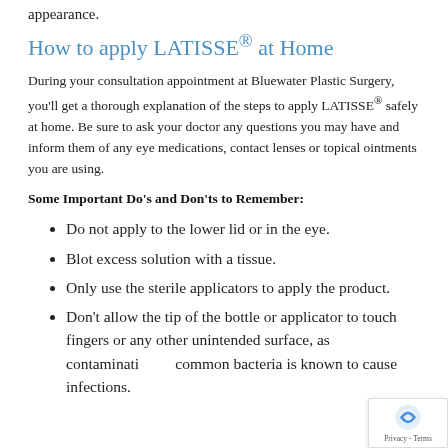appearance.
How to apply LATISSE® at Home
During your consultation appointment at Bluewater Plastic Surgery, you'll get a thorough explanation of the steps to apply LATISSE® safely at home. Be sure to ask your doctor any questions you may have and inform them of any eye medications, contact lenses or topical ointments you are using.
Some Important Do's and Don'ts to Remember:
Do not apply to the lower lid or in the eye.
Blot excess solution with a tissue.
Only use the sterile applicators to apply the product.
Don't allow the tip of the bottle or applicator to touch fingers or any other unintended surface, as contamination of common bacteria is known to cause infections.